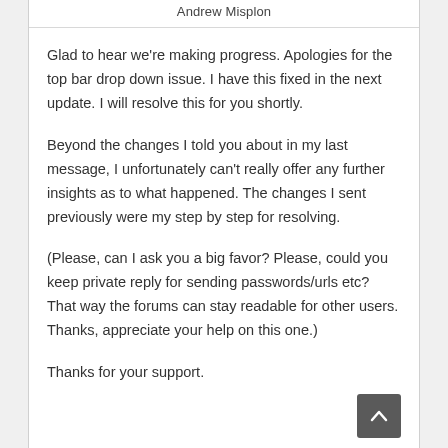Andrew Misplon
Glad to hear we're making progress. Apologies for the top bar drop down issue. I have this fixed in the next update. I will resolve this for you shortly.
Beyond the changes I told you about in my last message, I unfortunately can't really offer any further insights as to what happened. The changes I sent previously were my step by step for resolving.
(Please, can I ask you a big favor? Please, could you keep private reply for sending passwords/urls etc? That way the forums can stay readable for other users. Thanks, appreciate your help on this one.)
Thanks for your support.